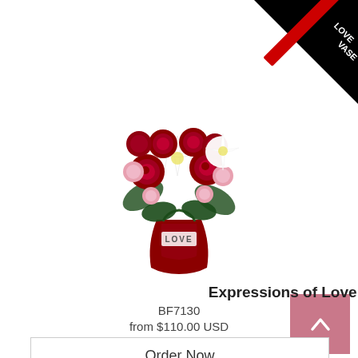[Figure (photo): A bouquet of red roses, white lilies, and pink carnations in a red 'LOVE' keepsake vase, with a black 'LOVE VASE' banner in the top-right corner]
Expressions of Love Keepsake Vase
BF7130
from $110.00 USD
Order Now